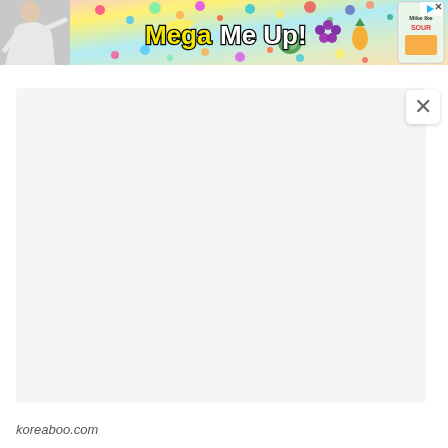[Figure (screenshot): Colorful candy-themed advertisement banner reading 'Mega Me Up!' with fruit and candy imagery, a person silhouette on the left, and a Miko Ike Sour product on the right. Skip/close button visible top right.]
[Figure (screenshot): Large empty light gray content/modal area with a white close (X) button in the top right corner.]
koreaboo.com